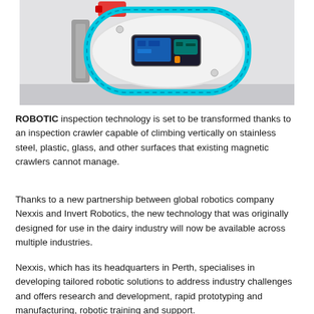[Figure (photo): Close-up top-down view of a robotic inspection crawler with a white oval body, cyan/teal rubber track belt around the perimeter, a circuit board visible through a window in the center, and a red component at the top left.]
ROBOTIC inspection technology is set to be transformed thanks to an inspection crawler capable of climbing vertically on stainless steel, plastic, glass, and other surfaces that existing magnetic crawlers cannot manage.
Thanks to a new partnership between global robotics company Nexxis and Invert Robotics, the new technology that was originally designed for use in the dairy industry will now be available across multiple industries.
Nexxis, which has its headquarters in Perth, specialises in developing tailored robotic solutions to address industry challenges and offers research and development, rapid prototyping and manufacturing, robotic training and support.